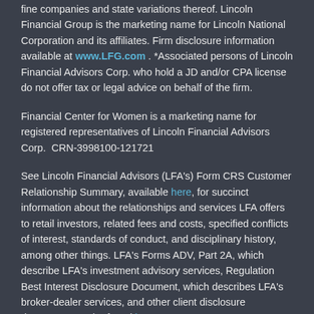fine companies and state variations thereof. Lincoln Financial Group is the marketing name for Lincoln National Corporation and its affiliates. Firm disclosure information available at www.LFG.com . *Associated persons of Lincoln Financial Advisors Corp. who hold a JD and/or CPA license do not offer tax or legal advice on behalf of the firm.
Financial Center for Women is a marketing name for registered representatives of Lincoln Financial Advisors Corp.  CRN-3998100-121721
See Lincoln Financial Advisors (LFA's) Form CRS Customer Relationship Summary, available here, for succinct information about the relationships and services LFA offers to retail investors, related fees and costs, specified conflicts of interest, standards of conduct, and disciplinary history, among other things. LFA's Forms ADV, Part 2A, which describe LFA's investment advisory services, Regulation Best Interest Disclosure Document, which describes LFA's broker-dealer services, and other client disclosure documents can be found here.